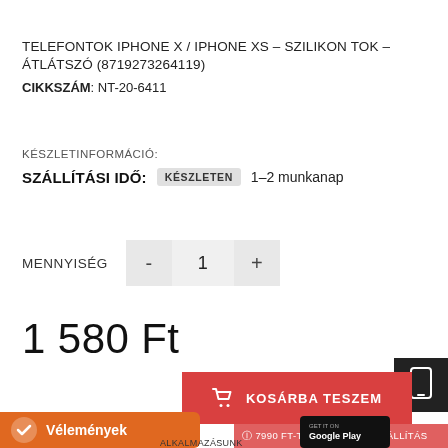TELEFONTOK IPHONE X / IPHONE XS – SZILIKON TOK – ÁTLÁTSZÓ (8719273264119)
CIKKSZÁM: NT-20-6411
KÉSZLETINFORMÁCIÓ:
SZÁLLÍTÁSI IDŐ: KÉSZLETEN 1–2 munkanap
MENNYISÉG  -  1  +
1 580 Ft
KOSÁRBA TESZEM
7990 FT-TÓL INGYENES SZÁLLÍTÁS
Vélemények
ALKALMAZÁSUNK